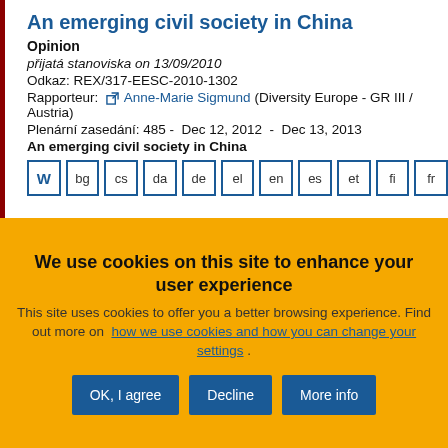An emerging civil society in China
Opinion
přijatá stanoviska on 13/09/2010
Odkaz: REX/317-EESC-2010-1302
Rapporteur: Anne-Marie Sigmund (Diversity Europe - GR III / Austria)
Plenární zasedání: 485 -  Dec 12, 2012  -  Dec 13, 2013
An emerging civil society in China
W bg cs da de el en es et fi fr
We use cookies on this site to enhance your user experience
This site uses cookies to offer you a better browsing experience. Find out more on how we use cookies and how you can change your settings .
OK, I agree  Decline  More info